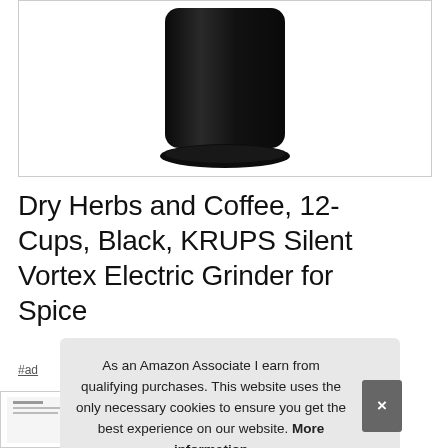[Figure (photo): Black cylindrical KRUPS coffee/spice grinder product photo on white background inside a bordered box]
Dry Herbs and Coffee, 12-Cups, Black, KRUPS Silent Vortex Electric Grinder for Spice
#ad
As an Amazon Associate I earn from qualifying purchases. This website uses the only necessary cookies to ensure you get the best experience on our website. More information